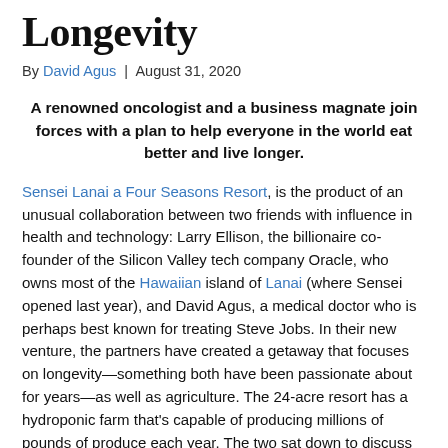Getaway Focused on Longevity
By David Agus | August 31, 2020
A renowned oncologist and a business magnate join forces with a plan to help everyone in the world eat better and live longer.
Sensei Lanai a Four Seasons Resort, is the product of an unusual collaboration between two friends with influence in health and technology: Larry Ellison, the billionaire co-founder of the Silicon Valley tech company Oracle, who owns most of the Hawaiian island of Lanai (where Sensei opened last year), and David Agus, a medical doctor who is perhaps best known for treating Steve Jobs. In their new venture, the partners have created a getaway that focuses on longevity—something both have been passionate about for years—as well as agriculture. The 24-acre resort has a hydroponic farm that's capable of producing millions of pounds of produce each year. The two sat down to discuss their vision for the future of wellness, and what they plan to do with all that food.